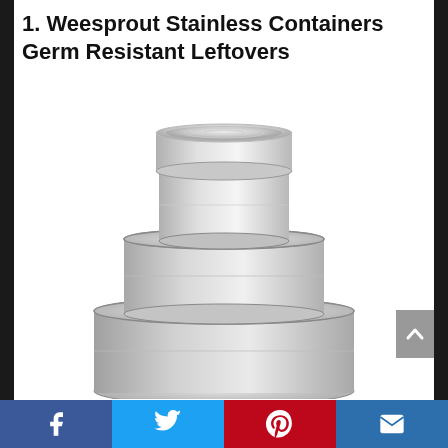1. Weesprout Stainless Containers Germ Resistant Leftovers
[Figure (photo): Three stacked stainless steel round food containers with lids, arranged from smallest on top to largest on bottom, on a white background.]
Facebook | Twitter | Pinterest | Email social sharing bar